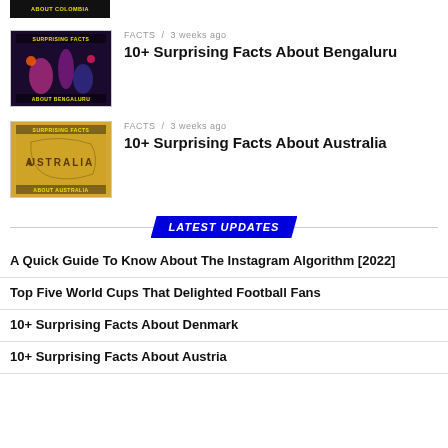[Figure (screenshot): Thumbnail for Colombia article, partially visible at top]
[Figure (photo): Thumbnail for Bengaluru article – dark purple background with colorful lights]
FACTS / 3 weeks ago
10+ Surprising Facts About Bengaluru
[Figure (photo): Thumbnail for Australia article – vintage map of Australia in yellow/brown]
FACTS / 3 weeks ago
10+ Surprising Facts About Australia
LATEST UPDATES
A Quick Guide To Know About The Instagram Algorithm [2022]
Top Five World Cups That Delighted Football Fans
10+ Surprising Facts About Denmark
10+ Surprising Facts About Austria